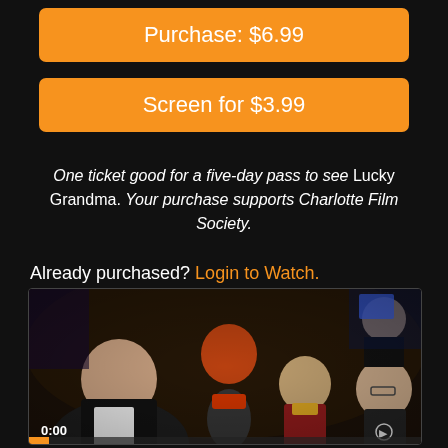Purchase: $6.99
Screen for $3.99
One ticket good for a five-day pass to see Lucky Grandma. Your purchase supports Charlotte Film Society.
Already purchased? Login to Watch.
[Figure (screenshot): Video thumbnail showing a scene from Lucky Grandma with several people at what appears to be a casino, including a small older Asian woman in a red jacket. Video timecode shows 0:00.]